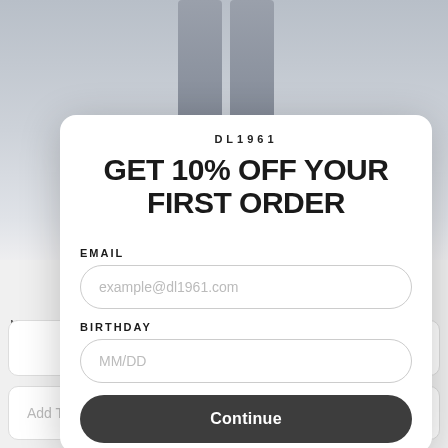[Figure (screenshot): Product page background showing lower legs of a person wearing grey slim-fit jeans and dark sneakers on a light grey background]
DL1961
GET 10% OFF YOUR FIRST ORDER
EMAIL
example@dl1961.com
BIRTHDAY
MM/DD
Continue
Nick Slim – Social (Dark Indigo)
SKU:
Size
Inseam
Add To Cart
$159